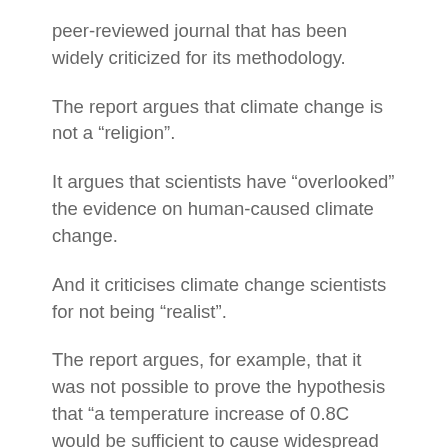peer-reviewed journal that has been widely criticized for its methodology.
The report argues that climate change is not a “religion”.
It argues that scientists have “overlooked” the evidence on human-caused climate change.
And it criticises climate change scientists for not being “realist”.
The report argues, for example, that it was not possible to prove the hypothesis that “a temperature increase of 0.8C would be sufficient to cause widespread extinctions and other irreversible changes in the biosphere” due to the fact that extinctions are not a direct consequence of warming.